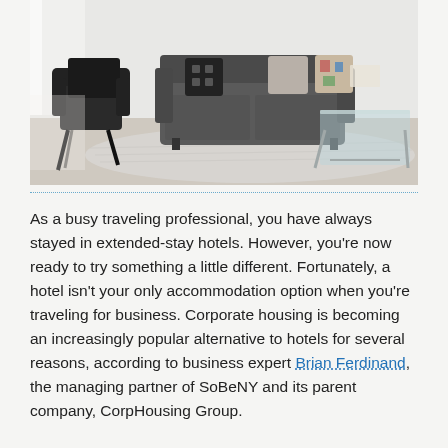[Figure (photo): Interior living room scene with a black armchair on the left, a dark grey sofa with patterned cushions in the center, and a glass coffee table on the right, on a light area rug over light wood flooring.]
As a busy traveling professional, you have always stayed in extended-stay hotels. However, you're now ready to try something a little different. Fortunately, a hotel isn't your only accommodation option when you're traveling for business. Corporate housing is becoming an increasingly popular alternative to hotels for several reasons, according to business expert Brian Ferdinand, the managing partner of SoBeNY and its parent company, CorpHousing Group.